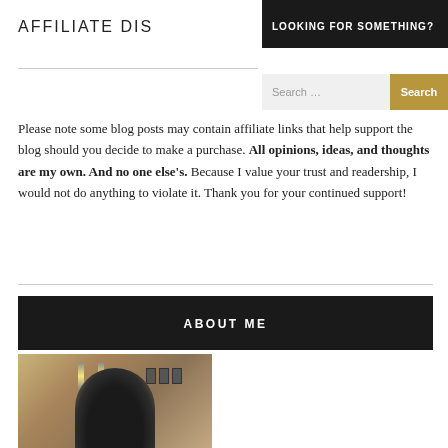LOOKING FOR SOMETHING?
AFFILIATE DIS
Search ...
Please note some blog posts may contain affiliate links that help support the blog should you decide to make a purchase. All opinions, ideas, and thoughts are my own. And no one else's. Because I value your trust and readership, I would not do anything to violate it. Thank you for your continued support!
ABOUT ME
[Figure (photo): A woman with dark hair in a room with ceiling pendant lights and wall art]